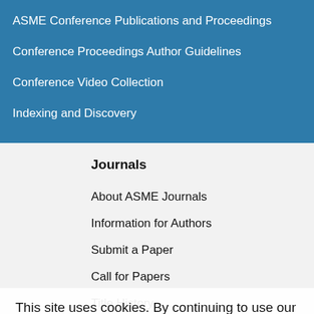ASME Conference Publications and Proceedings
Conference Proceedings Author Guidelines
Conference Video Collection
Indexing and Discovery
Journals
About ASME Journals
Information for Authors
Submit a Paper
Call for Papers
Title History
This site uses cookies. By continuing to use our website, you are agreeing to our privacy policy. Accept
About ASME Conference Publications and Proceedings